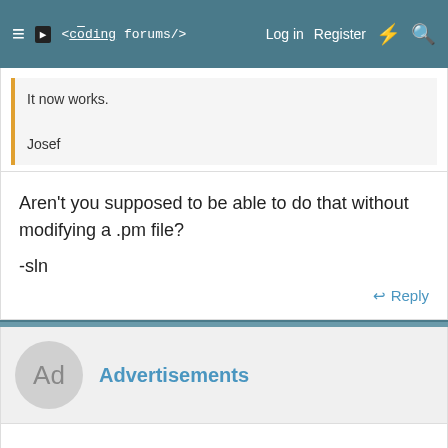≡  <coding forums/>   Log in   Register
It now works.

Josef
Aren't you supposed to be able to do that without modifying a .pm file?

-sln
Reply
Advertisements
Josef Moellers